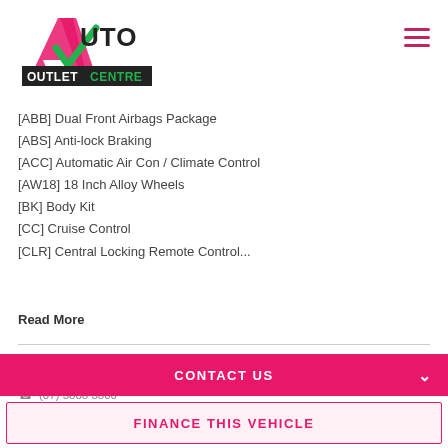[Figure (logo): Auto Outlet Centre logo — pink A with green checkmark, text AUTO OUTLET CENTRE in black and green]
[ABB] Dual Front Airbags Package
[ABS] Anti-lock Braking
[ACC] Automatic Air Con / Climate Control
[AW18] 18 Inch Alloy Wheels
[BK] Body Kit
[CC] Cruise Control
[CLR] Central Locking Remote Control...
Read More
AUTO OUTLET CENTRE
48 Compton Road Underwood QLD 4119
(07) 3808 3800
Dealer Licence No. 3052548
CONTACT US
FINANCE THIS VEHICLE